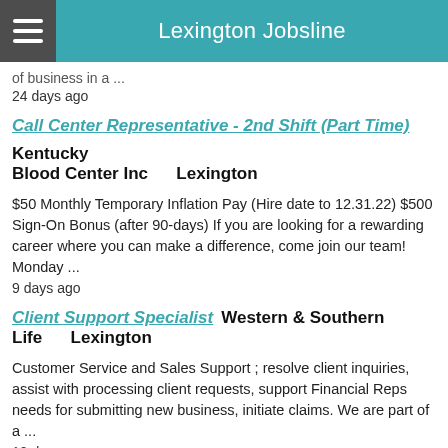Lexington Jobsline
of business in a ...
24 days ago
Call Center Representative - 2nd Shift (Part Time)   Kentucky Blood Center Inc   Lexington
$50 Monthly Temporary Inflation Pay (Hire date to 12.31.22) $500 Sign-On Bonus (after 90-days) If you are looking for a rewarding career where you can make a difference, come join our team! Monday ...
9 days ago
Client Support Specialist   Western & Southern Life   Lexington
Customer Service and Sales Support ; resolve client inquiries, assist with processing client requests, support Financial Reps needs for submitting new business, initiate claims. We are part of a ...
10 days ago